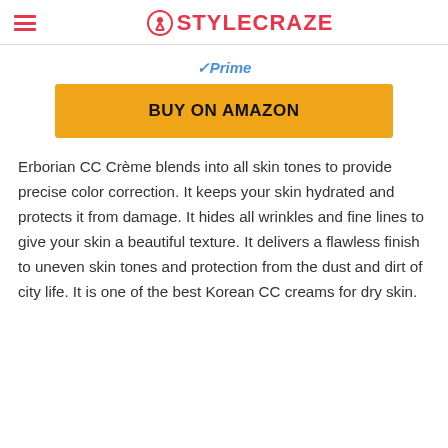STYLECRAZE
[Figure (other): Amazon Prime badge with checkmark and 'Prime' text in blue italic]
[Figure (other): Orange 'BUY ON AMAZON' button]
Erborian CC Crème blends into all skin tones to provide precise color correction. It keeps your skin hydrated and protects it from damage. It hides all wrinkles and fine lines to give your skin a beautiful texture. It delivers a flawless finish to uneven skin tones and protection from the dust and dirt of city life. It is one of the best Korean CC creams for dry skin.